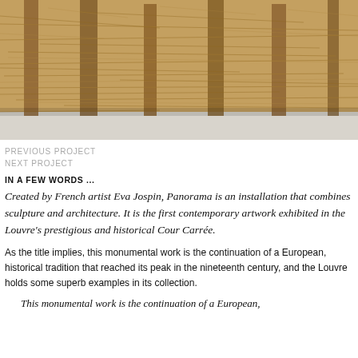[Figure (photo): Close-up photo of a textured sculptural installation made of wood fibers, straw, or cardboard-like organic material, arranged in a dense, layered, fibrous composition in warm tan and brown tones.]
PREVIOUS PROJECT
NEXT PROJECT
IN A FEW WORDS ...
Created by French artist Eva Jospin, Panorama is an installation that combines sculpture and architecture. It is the first contemporary artwork exhibited in the Louvre's prestigious and historical Cour Carrée.
As the title implies, this monumental work is the continuation of a European, historical tradition that reached its peak in the nineteenth century, and the Louvre holds some superb examples in its collection.
This monumental work is the continuation of a European,